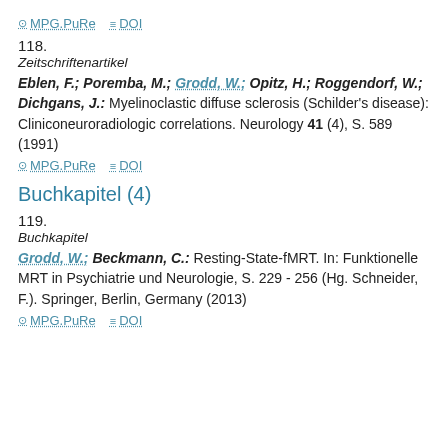MPG.PuRe   DOI
118.
Zeitschriftenartikel
Eblen, F.; Poremba, M.; Grodd, W.; Opitz, H.; Roggendorf, W.; Dichgans, J.: Myelinoclastic diffuse sclerosis (Schilder's disease): Cliniconeuroradiologic correlations. Neurology 41 (4), S. 589 (1991)
MPG.PuRe   DOI
Buchkapitel (4)
119.
Buchkapitel
Grodd, W.; Beckmann, C.: Resting-State-fMRT. In: Funktionelle MRT in Psychiatrie und Neurologie, S. 229 - 256 (Hg. Schneider, F.). Springer, Berlin, Germany (2013)
MPG.PuRe   DOI